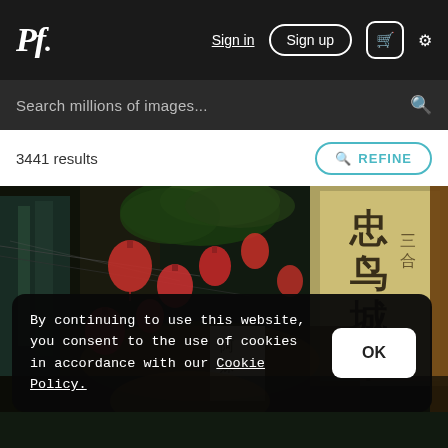Pf. Sign in  Sign up  🛒  ⚙
Search millions of images...
3441 results
REFINE
[Figure (photo): A nighttime street scene in an Asian city (likely Taiwan/China) showing red paper lanterns hanging from buildings, Chinese signage including characters for a market, lush green plants, warm ambient lighting, and a busy alley atmosphere.]
By continuing to use this website, you consent to the use of cookies in accordance with our Cookie Policy.
OK